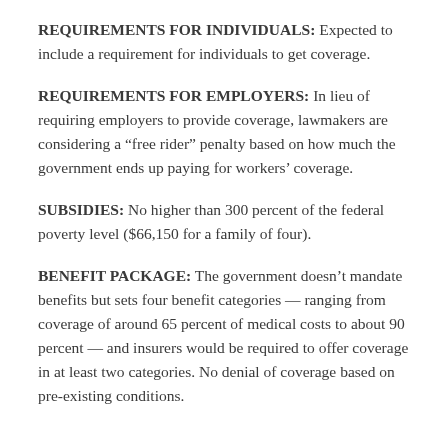REQUIREMENTS FOR INDIVIDUALS: Expected to include a requirement for individuals to get coverage.
REQUIREMENTS FOR EMPLOYERS: In lieu of requiring employers to provide coverage, lawmakers are considering a “free rider” penalty based on how much the government ends up paying for workers’ coverage.
SUBSIDIES: No higher than 300 percent of the federal poverty level ($66,150 for a family of four).
BENEFIT PACKAGE: The government doesn’t mandate benefits but sets four benefit categories — ranging from coverage of around 65 percent of medical costs to about 90 percent — and insurers would be required to offer coverage in at least two categories. No denial of coverage based on pre-existing conditions.